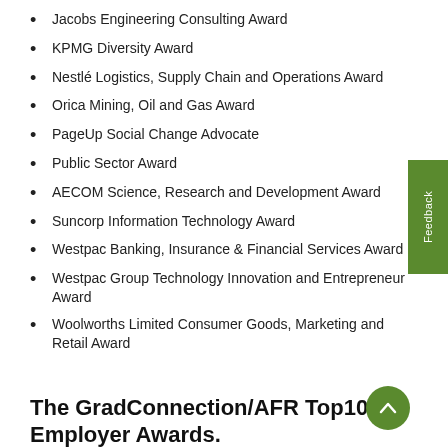Jacobs Engineering Consulting Award
KPMG Diversity Award
Nestlé Logistics, Supply Chain and Operations Award
Orica Mining, Oil and Gas Award
PageUp Social Change Advocate
Public Sector Award
AECOM Science, Research and Development Award
Suncorp Information Technology Award
Westpac Banking, Insurance & Financial Services Award
Westpac Group Technology Innovation and Entrepreneur Award
Woolworths Limited Consumer Goods, Marketing and Retail Award
The GradConnection/AFR Top100 Employer Awards.